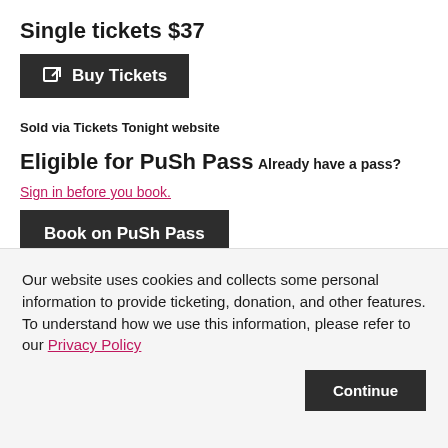Single tickets $37
[Figure (other): Buy Tickets button (dark background, external link icon)]
Sold via Tickets Tonight website
Eligible for PuSh Pass
Already have a pass?
Sign in before you book.
[Figure (other): Book on PuSh Pass button (dark background)]
Our website uses cookies and collects some personal information to provide ticketing, donation, and other features. To understand how we use this information, please refer to our Privacy Policy
[Figure (other): Continue button (dark background)]